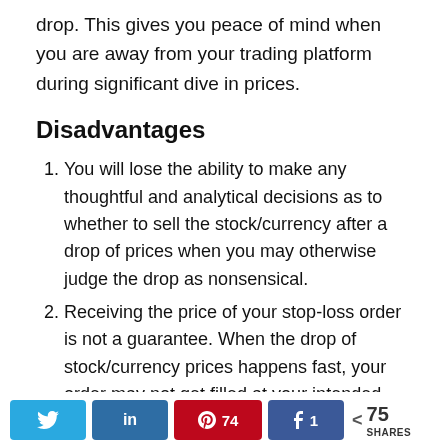drop. This gives you peace of mind when you are away from your trading platform during significant dive in prices.
Disadvantages
You will lose the ability to make any thoughtful and analytical decisions as to whether to sell the stock/currency after a drop of prices when you may otherwise judge the drop as nonsensical.
Receiving the price of your stop-loss order is not a guarantee. When the drop of stock/currency prices happens fast, your order may not get filled at your intended
Twitter | in LinkedIn | Pinterest 74 | Facebook 1 | < 75 SHARES